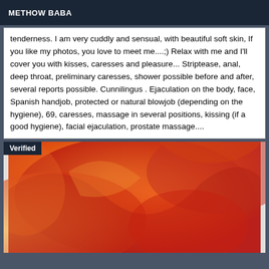METHOW BABA
tenderness. I am very cuddly and sensual, with beautiful soft skin, If you like my photos, you love to meet me....;) Relax with me and I'll cover you with kisses, caresses and pleasure... Striptease, anal, deep throat, preliminary caresses, shower possible before and after, several reports possible. Cunnilingus . Ejaculation on the body, face, Spanish handjob, protected or natural blowjob (depending on the hygiene), 69, caresses, massage in several positions, kissing (if a good hygiene), facial ejaculation, prostate massage....
[Figure (photo): Close-up photo of red and orange flower petals with a 'Verified' badge overlay in the top-left corner]